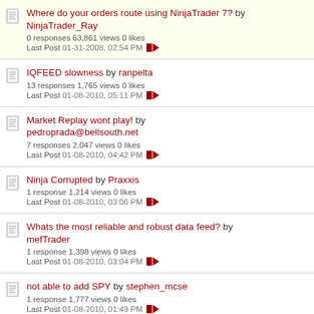Where do your orders route using NinjaTrader 7? by NinjaTrader_Ray — 0 responses 63,861 views 0 likes — Last Post 01-31-2008, 02:54 PM
IQFEED slowness by ranpelta — 13 responses 1,765 views 0 likes — Last Post 01-08-2010, 05:11 PM
Market Replay wont play! by pedroprada@bellsouth.net — 7 responses 2,047 views 0 likes — Last Post 01-08-2010, 04:42 PM
Ninja Corrupted by Praxxis — 1 response 1,214 views 0 likes — Last Post 01-08-2010, 03:06 PM
Whats the most reliable and robust data feed? by mefTrader — 1 response 1,398 views 0 likes — Last Post 01-08-2010, 03:04 PM
not able to add SPY by stephen_mcse — 1 response 1,777 views 0 likes — Last Post 01-08-2010, 01:49 PM